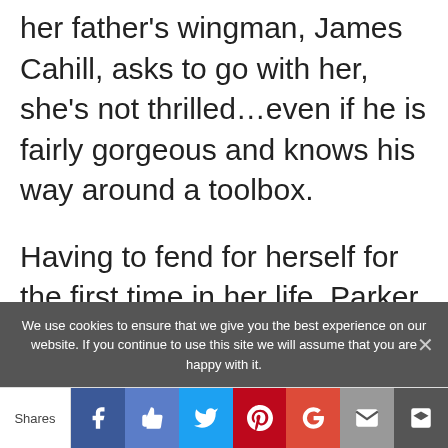her father's wingman, James Cahill, asks to go with her, she's not thrilled...even if he is fairly gorgeous and knows his way around a toolbox.
Having to fend for herself for the first time in her life, Parker signs on as a florist's assistant and starts to find out who she really is. Maybe James isn't the glib lawyer she always thought he was. And maybe the house isn't the only thing that needs a little TLC...
We use cookies to ensure that we give you the best experience on our website. If you continue to use this site we will assume that you are happy with it.
Shares